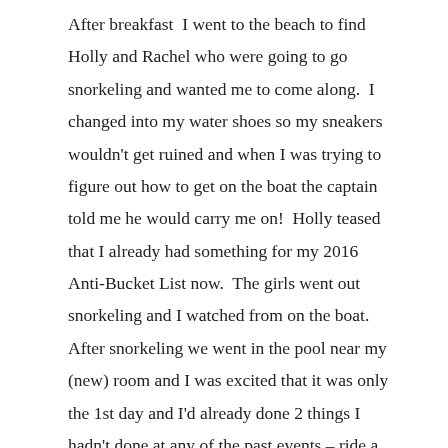After breakfast  I went to the beach to find Holly and Rachel who were going to go snorkeling and wanted me to come along.  I changed into my water shoes so my sneakers wouldn't get ruined and when I was trying to figure out how to get on the boat the captain told me he would carry me on!  Holly teased that I already had something for my 2016 Anti-Bucket List now.  The girls went out snorkeling and I watched from on the boat.  After snorkeling we went in the pool near my (new) room and I was excited that it was only the 1st day and I'd already done 2 things I hadn't done at any of the past events – ride a